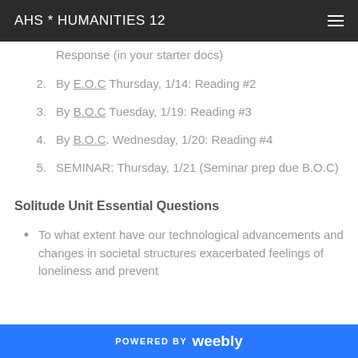AHS * HUMANITIES 12
Response (in your starter docs)
2. By E.O.C Thursday, 1/14: Reading #2
3. By B.O.C Tuesday, 1/19: Reading #3
4. By B.O.C. Wednesday, 1/20: Reading #4
5. SEMINAR: Thursday, 1/21 (Seminar prep due B.O.C)
Solitude Unit Essential Questions
To what extent have our technological advancements and changes in societal structures exacerbated feelings of loneliness and prevent
POWERED BY weebly